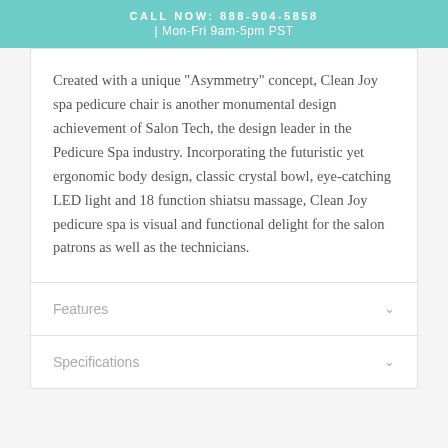CALL NOW: 888-904-5858 | Mon-Fri 9am-5pm PST
Created with a unique "Asymmetry" concept, Clean Joy spa pedicure chair is another monumental design achievement of Salon Tech, the design leader in the Pedicure Spa industry. Incorporating the futuristic yet ergonomic body design, classic crystal bowl, eye-catching LED light and 18 function shiatsu massage, Clean Joy pedicure spa is visual and functional delight for the salon patrons as well as the technicians.
Features
Specifications